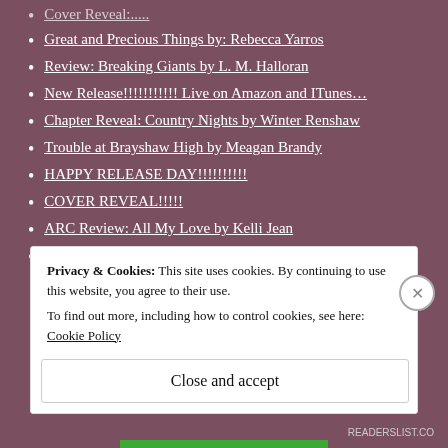Cover Reveal:....
Great and Precious Things by: Rebecca Yarros
Review: Breaking Giants by L. M. Halloran
New Release!!!!!!!!!!! Live on Amazon and ITunes…
Chapter Reveal: Country Nights by Winter Renshaw
Trouble at Brayshaw High by Meagan Brandy
HAPPY RELEASE DAY!!!!!!!!!!
COVER REVEAL!!!!!
ARC Review: All My Love by Kelli Jean
#COVIDChronicles
Privacy & Cookies: This site uses cookies. By continuing to use this website, you agree to their use. To find out more, including how to control cookies, see here: Cookie Policy
Close and accept